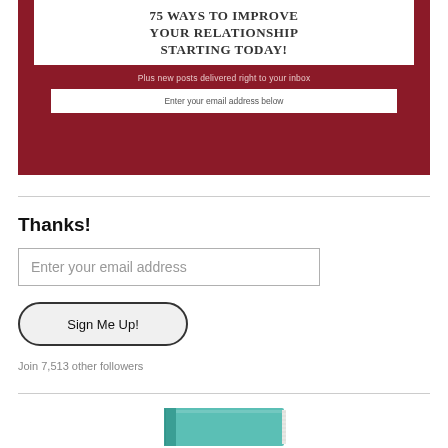[Figure (infographic): Dark red/crimson banner with white inner box containing bold uppercase text '75 WAYS TO IMPROVE YOUR RELATIONSHIP STARTING TODAY!', subtitle 'Plus new posts delivered right to your inbox', and a white email input box with text 'Enter your email address below']
Thanks!
Enter your email address
Sign Me Up!
Join 7,513 other followers
[Figure (photo): Partial view of a teal/turquoise book at the bottom of the page]